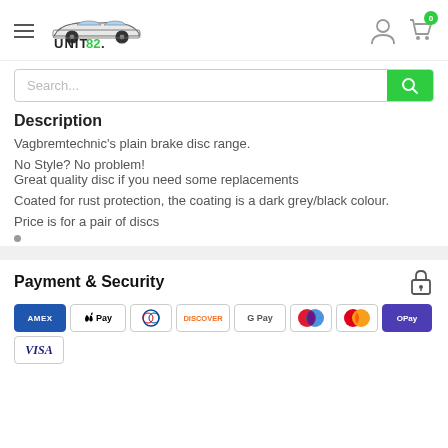[Figure (logo): Unit82 Performance Parts logo with car silhouette]
Description
Vagbremtechnic's plain brake disc range.
No Style? No problem!
Great quality disc if you need some replacements
Coated for rust protection, the coating is a dark grey/black colour.
Price is for a pair of discs
Payment & Security
[Figure (other): Payment method icons: AMEX, Apple Pay, Diners, Discover, Google Pay, Maestro, Mastercard, OPay, Visa]